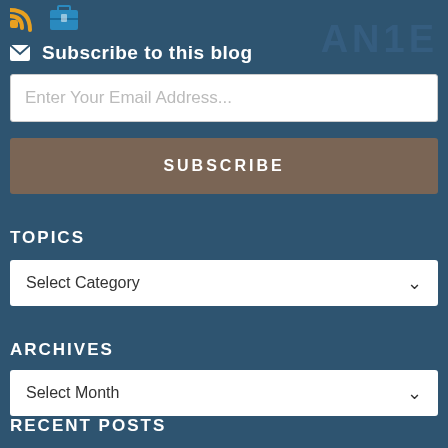[Figure (logo): RSS feed icon (orange/yellow) and briefcase icon (blue) top left]
AN1E (watermark text, top right)
Subscribe to this blog
Enter Your Email Address...
SUBSCRIBE
TOPICS
Select Category
ARCHIVES
Select Month
RECENT POSTS